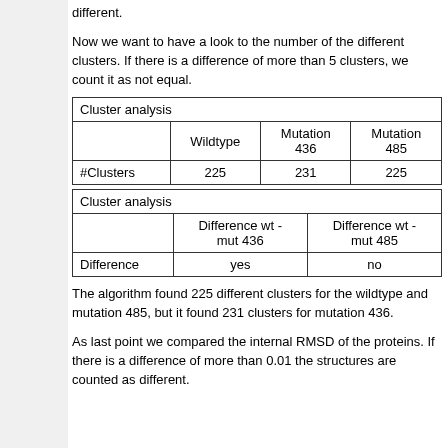different.
Now we want to have a look to the number of the different clusters. If there is a difference of more than 5 clusters, we count it as not equal.
| Cluster analysis |  |  |  |
| --- | --- | --- | --- |
|  | Wildtype | Mutation 436 | Mutation 485 |
| #Clusters | 225 | 231 | 225 |
| Cluster analysis |  |  |
| --- | --- | --- |
|  | Difference wt - mut 436 | Difference wt - mut 485 |
| Difference | yes | no |
The algorithm found 225 different clusters for the wildtype and mutation 485, but it found 231 clusters for mutation 436.
As last point we compared the internal RMSD of the proteins. If there is a difference of more than 0.01 the structures are counted as different.